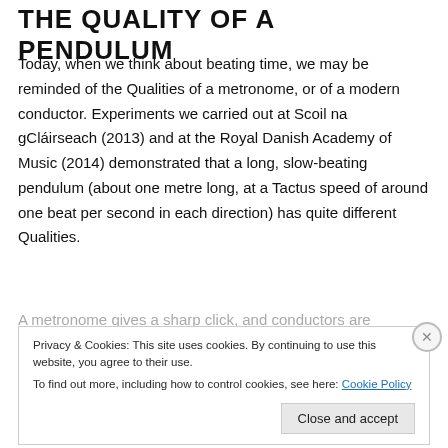THE QUALITY OF A PENDULUM
Today, when we think about beating time, we may be reminded of the Qualities of a metronome, or of a modern conductor. Experiments we carried out at Scoil na gCláirseach (2013) and at the Royal Danish Academy of Music (2014) demonstrated that a long, slow-beating pendulum (about one metre long, at a Tactus speed of around one beat per second in each direction) has quite different Qualities.
A metronome gives a sharp click, and conductors are
Privacy & Cookies: This site uses cookies. By continuing to use this website, you agree to their use.
To find out more, including how to control cookies, see here: Cookie Policy
Close and accept